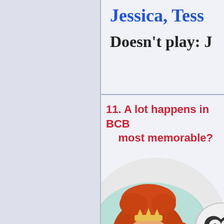Jessica, Tess
Doesn't play: J
11. A lot happens in BCB most memorable?
[Figure (illustration): Illustration of a girl with red curly hair and cat ears lying in bed on a teal pillow, wearing a teal shirt, with freckles and a slight smile. Another character partially visible on the right side.]